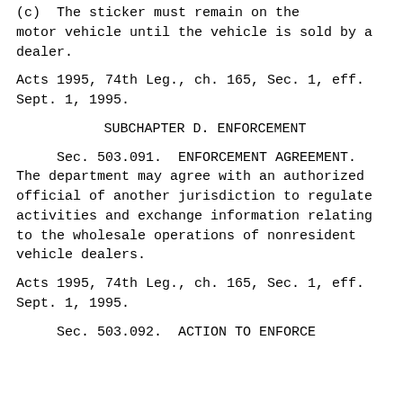(c)  The sticker must remain on the motor vehicle until the vehicle is sold by a dealer.
Acts 1995, 74th Leg., ch. 165, Sec. 1, eff. Sept. 1, 1995.
SUBCHAPTER D. ENFORCEMENT
Sec. 503.091.  ENFORCEMENT AGREEMENT. The department may agree with an authorized official of another jurisdiction to regulate activities and exchange information relating to the wholesale operations of nonresident vehicle dealers.
Acts 1995, 74th Leg., ch. 165, Sec. 1, eff. Sept. 1, 1995.
Sec. 503.092.  ACTION TO ENFORCE